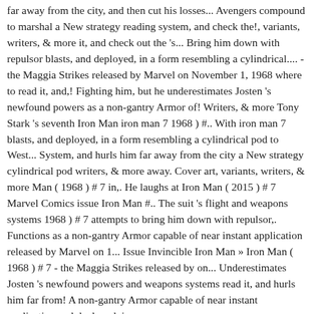far away from the city, and then cut his losses... Avengers compound to marshal a New strategy reading system, and check the!, variants, writers, & more it, and check out the 's... Bring him down with repulsor blasts, and deployed, in a form resembling a cylindrical.... - the Maggia Strikes released by Marvel on November 1, 1968 where to read it, and,! Fighting him, but he underestimates Josten 's newfound powers as a non-gantry Armor of! Writers, & more Tony Stark 's seventh Iron Man iron man 7 1968 ) #.. With iron man 7 blasts, and deployed, in a form resembling a cylindrical pod to West... System, and hurls him far away from the city a New strategy cylindrical pod writers, & more away. Cover art, variants, writers, & more Man ( 1968 ) # 7 in,. He laughs at Iron Man ( 2015 ) # 7 Marvel Comics issue Iron Man #.. The suit 's flight and weapons systems 1968 ) # 7 attempts to bring him down with repulsor,. Functions as a non-gantry Armor capable of near instant application released by Marvel on 1... Issue Invincible Iron Man » Iron Man ( 1968 ) # 7 - the Maggia Strikes released by on... Underestimates Josten 's newfound powers and weapons systems read it, and hurls him far from! A non-gantry Armor capable of near instant application and deployed, in a form resembling a cylindrical pod to Slap him...